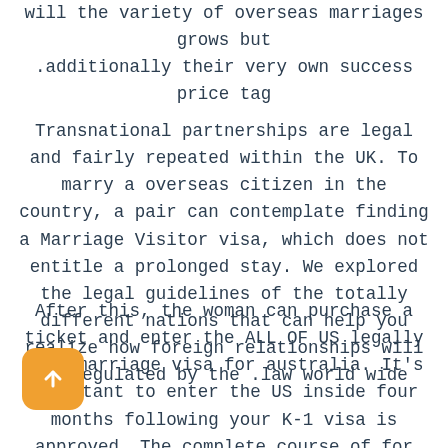will the variety of overseas marriages grows but additionally their very own success price tag.
Transnational partnerships are legal and fairly repeated within the UK. To marry a overseas citizen in the country, a pair can contemplate finding a Marriage Visitor visa, which does not entitle a prolonged stay. We explored the legal guidelines of the totally different nations that can help you realize how foreign relationships will be regulated by the law world wide.
After this, the woman can purchase a ticket and enter the ALL OF US legally on a marriage visa for australia. It's important to enter the US inside four months following your K-1 visa is approved. The complete course of for getting married to a non-US citizen generally doesn't have